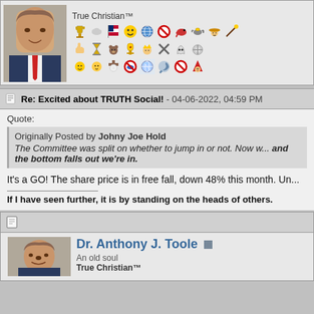[Figure (screenshot): Forum post profile area with avatar photo of a man in suit, username 'True Christian™', and two rows of forum badge icons]
Re: Excited about TRUTH Social! - 04-06-2022, 04:59 PM
Quote:
Originally Posted by Johny Joe Hold
The Committee was split on whether to jump in or not. Now w... and the bottom falls out we're in.
It's a GO! The share price is in free fall, down 48% this month. Un...
If I have seen further, it is by standing on the heads of others.
[Figure (screenshot): Second forum post header with document icon]
Dr. Anthony J. Toole
An old soul
True Christian™